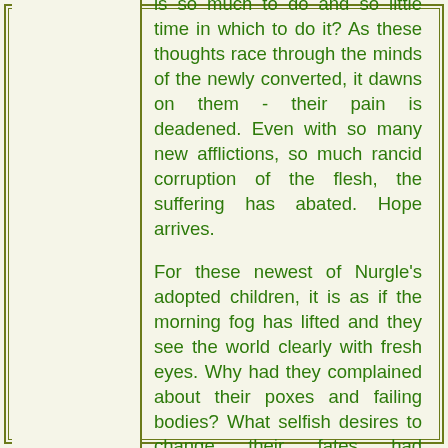is so much to do and so little time in which to do it? As these thoughts race through the minds of the newly converted, it dawns on them - their pain is deadened. Even with so many new afflictions, so many rancid corruption of the flesh, the suffering has abated. Hope arrives.

For these newest of Nurgle's adopted children, it is as if the morning fog has lifted and they see the world clearly with fresh eyes. Why had they complained about their poxes and failing bodies? What selfish desires to change their fates had prevented them from realising their true purpose? Rot, glorious rot, becomes the constant companion for a servant of the Lord of All, instructing them, guiding their path, and reminding them that they are fortunate beyond measure to have been chosen by Nurgle to receive his gifts. Indeed, many discover that the initial malady from which they suffered, the one that drove them to seek salvation in the first place, was actually bestowed upon them by Nurgle. Rather than anger, it is